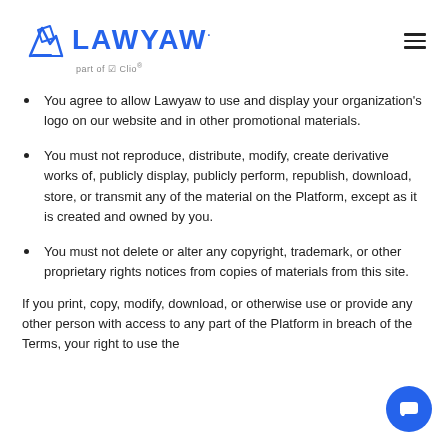LAWYAW part of Clio
You agree to allow Lawyaw to use and display your organization's logo on our website and in other promotional materials.
You must not reproduce, distribute, modify, create derivative works of, publicly display, publicly perform, republish, download, store, or transmit any of the material on the Platform, except as it is created and owned by you.
You must not delete or alter any copyright, trademark, or other proprietary rights notices from copies of materials from this site.
If you print, copy, modify, download, or otherwise use or provide any other person with access to any part of the Platform in breach of the Terms, your right to use the